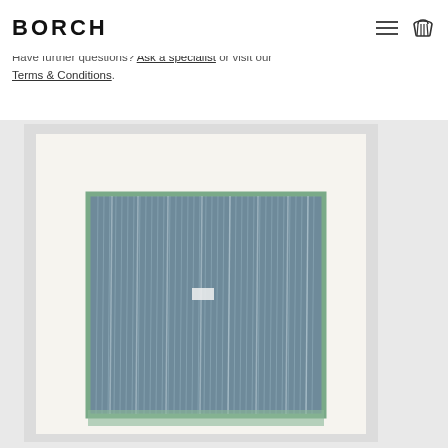BORCH
Shipping of unframed editions is free of charge. Have further questions? Ask a specialist or visit our Terms & Conditions.
[Figure (photo): Framed artwork photograph showing a blue-grey abstract print with vertical striated texture, displayed on a white mat within a light frame, against a light grey background.]